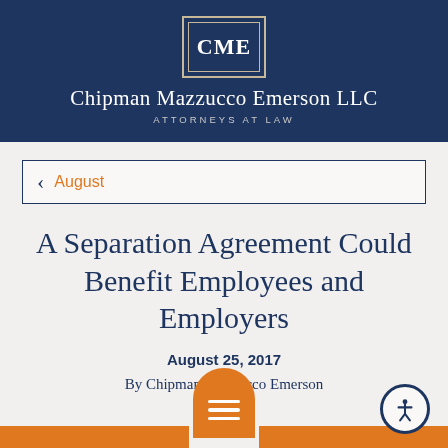Chipman Mazzucco Emerson LLC - Attorneys at Law
August
A Separation Agreement Could Benefit Employees and Employers
August 25, 2017
By Chipman Mazzucco Emerson